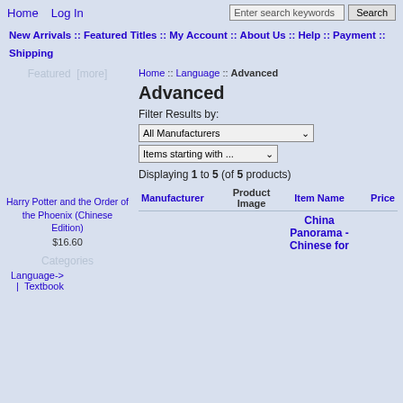Home  Log In  [search bar]  Search
New Arrivals :: Featured Titles :: My Account :: About Us :: Help :: Payment :: Shipping
Featured  [more]
Home :: Language :: Advanced
Advanced
Filter Results by:
All Manufacturers [dropdown]
Items starting with ... [dropdown]
Displaying 1 to 5 (of 5 products)
| Manufacturer | Product Image | Item Name | Price |
| --- | --- | --- | --- |
|  |  | China Panorama - Chinese for ... |  |
Harry Potter and the Order of the Phoenix (Chinese Edition)
$16.60
Categories
Language->
  | Textbook